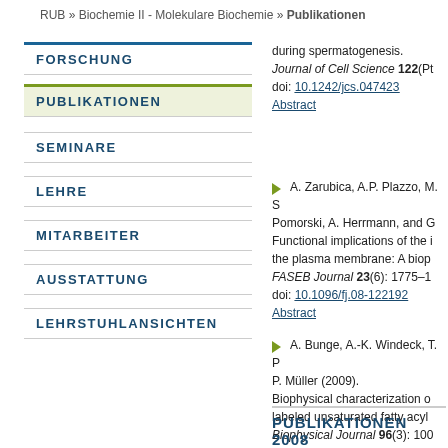RUB » Biochemie II - Molekulare Biochemie » Publikationen
FORSCHUNG
PUBLIKATIONEN
SEMINARE
LEHRE
MITARBEITER
AUSSTATTUNG
LEHRSTUHLANSICHTEN
during spermatogenesis. Journal of Cell Science 122(Pt... doi: 10.1242/jcs.047423 Abstract
A. Zarubica, A.P. Plazzo, M. S... Pomorski, A. Herrmann, and G... Functional implications of the i... the plasma membrane: A biop... FASEB Journal 23(6): 1775–1... doi: 10.1096/fj.08-122192 Abstract
A. Bunge, A.-K. Windeck, T. P... P. Müller (2009). Biophysical characterization o... labeled unsaturated fatty acyl... Biophysical Journal 96(3): 100... doi: 10.1016/j.bpj.2008.10.037 Abstract
PUBLIKATIONEN 2008